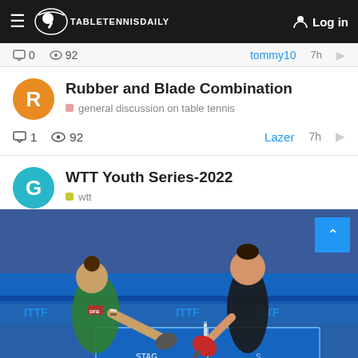TableTennisDaily — Log in
0  92  tommy10  7h
Rubber and Blade Combination
general discussion on table tennis
1  92  Lazer  7h
WTT Youth Series-2022
wtt
[Figure (photo): Two female table tennis players in action at a WTT tournament. One player in green shirt lunges forward, another in black holds a red paddle. Blue ITTF banners in background.]